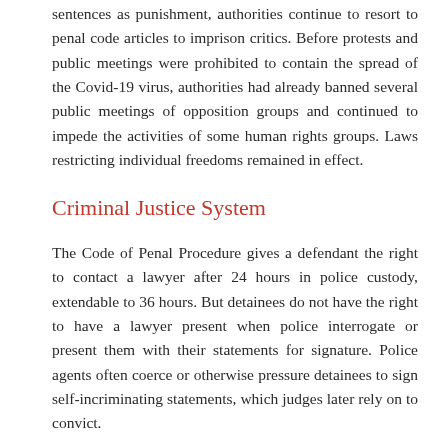sentences as punishment, authorities continue to resort to penal code articles to imprison critics. Before protests and public meetings were prohibited to contain the spread of the Covid-19 virus, authorities had already banned several public meetings of opposition groups and continued to impede the activities of some human rights groups. Laws restricting individual freedoms remained in effect.
Criminal Justice System
The Code of Penal Procedure gives a defendant the right to contact a lawyer after 24 hours in police custody, extendable to 36 hours. But detainees do not have the right to have a lawyer present when police interrogate or present them with their statements for signature. Police agents often coerce or otherwise pressure detainees to sign self-incriminating statements, which judges later rely on to convict.
In prisons, some high-profile detainees were kept in